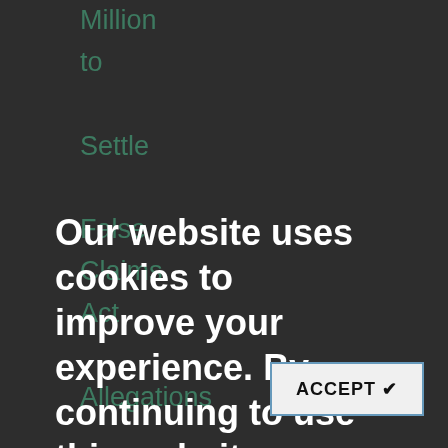Million to Settle False Claims Act Allegations October 30, 2009 Madigan Who Got $0. Session Drug-
Our website uses cookies to improve your experience. By continuing to use this website, you are agreeing to our Cookie Policy.
ACCEPT ✔